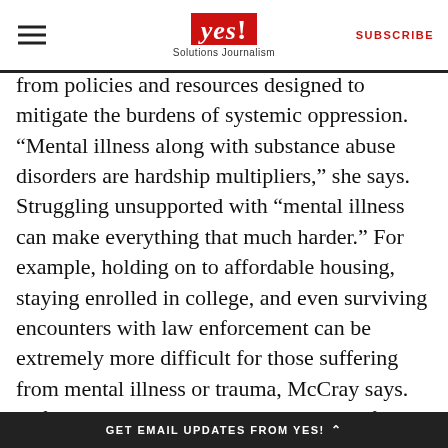YES! Solutions Journalism — SUBSCRIBE
from policies and resources designed to mitigate the burdens of systemic oppression. “Mental illness along with substance abuse disorders are hardship multipliers,” she says. Struggling unsupported with “mental illness can make everything that much harder.” For example, holding on to affordable housing, staying enrolled in college, and even surviving encounters with law enforcement can be extremely more difficult for those suffering from mental illness or trauma, McCray says. In fact, the most recent annual numbers from the Washington Post’s database of fatal police-shooting victims indicate that “nearly 1 in 4 of those shot was described as experiencing some form of mental distress at the time of the
GET EMAIL UPDATES FROM YES!